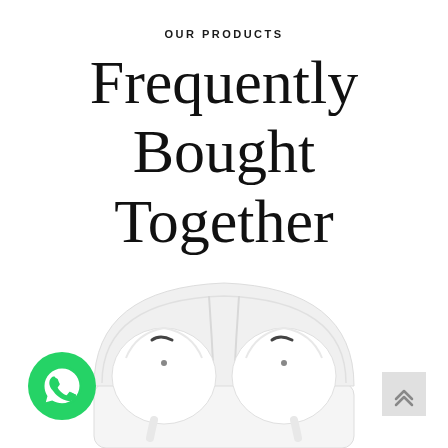OUR PRODUCTS
Frequently Bought Together
[Figure (photo): Apple AirPods in their white charging case, open lid showing both earbuds from top view, bottom portion of image cropped]
[Figure (logo): WhatsApp icon - green circle with white phone/speech bubble logo]
[Figure (other): Light grey scroll-to-top button with upward chevron arrows]